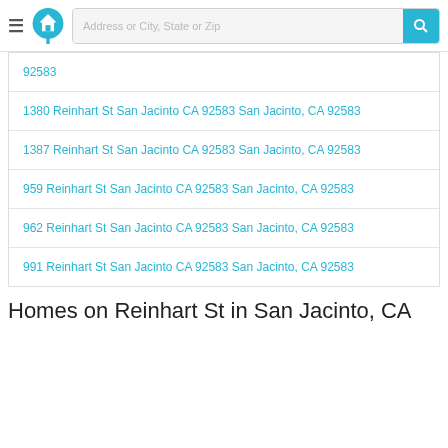Address or City, State or Zip
92583
1380 Reinhart St San Jacinto CA 92583 San Jacinto, CA 92583
1387 Reinhart St San Jacinto CA 92583 San Jacinto, CA 92583
959 Reinhart St San Jacinto CA 92583 San Jacinto, CA 92583
962 Reinhart St San Jacinto CA 92583 San Jacinto, CA 92583
991 Reinhart St San Jacinto CA 92583 San Jacinto, CA 92583
Homes on Reinhart St in San Jacinto, CA